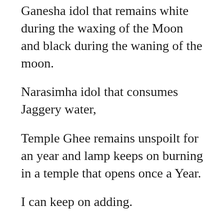Ganesha idol that remains white during the waxing of the Moon and black during the waning of the moon.
Narasimha idol that consumes Jaggery water,
Temple Ghee remains unspoilt for an year and lamp keeps on burning in a temple that opens once a Year.
I can keep on adding.
Please read my articles on temples by Googling temples of India+ramanan 50.
There is a temple near Tumkur, Karnataka,where Ghee poured on Shiva